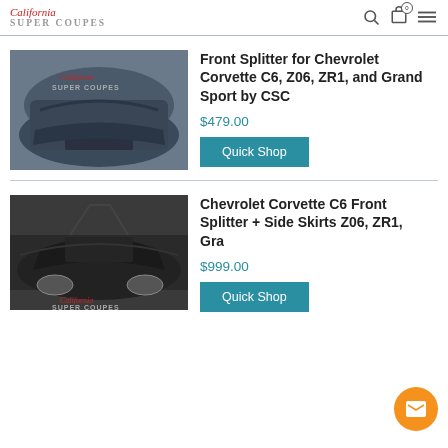California Super Coupes
[Figure (photo): Front view of a dark gray Chevrolet Corvette C6 with front splitter installed, California Super Coupes logo overlaid]
Front Splitter for Chevrolet Corvette C6, Z06, ZR1, and Grand Sport by CSC
$479.00
Quick Shop
[Figure (photo): Side/top view of a black Chevrolet Corvette C6 with doors open, California Super Coupes logo overlaid]
Chevrolet Corvette C6 Front Splitter + Side Skirts Z06, ZR1, Grand Sport, and Wide Body
$999.00
Quick Shop